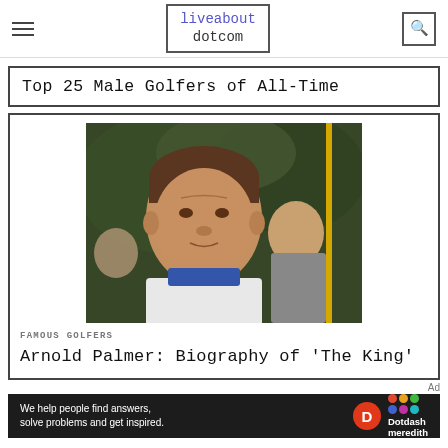liveabout dotcom
Top 25 Male Golfers of All-Time
[Figure (photo): Photograph of Arnold Palmer, a male golfer in a white shirt and blue turtleneck, looking intently forward at a golf event, with other people visible in the background]
FAMOUS GOLFERS
Arnold Palmer: Biography of 'The King'
Ad
[Figure (logo): Dotdash Meredith advertisement banner: 'We help people find answers, solve problems and get inspired.' with Dotdash D logo and Meredith colorful dots logo]